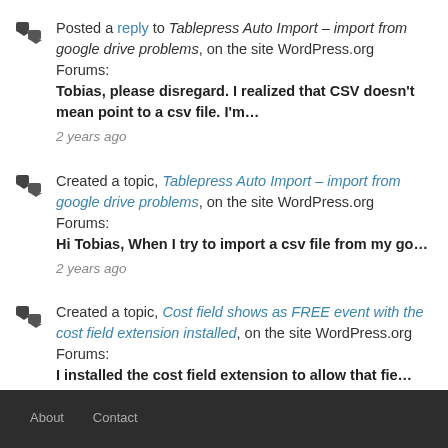Posted a reply to Tablepress Auto Import – import from google drive problems, on the site WordPress.org Forums: Tobias, please disregard. I realized that CSV doesn't mean point to a csv file. I'm… 2 years ago
Created a topic, Tablepress Auto Import – import from google drive problems, on the site WordPress.org Forums: Hi Tobias, When I try to import a csv file from my go… 2 years ago
Created a topic, Cost field shows as FREE event with the cost field extension installed, on the site WordPress.org Forums: I installed the cost field extension to allow that fie… 3 years ago
About        Contact